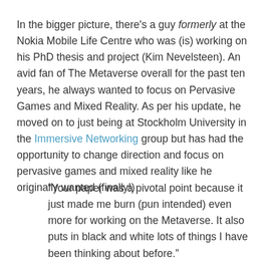In the bigger picture, there's a guy formerly at the Nokia Mobile Life Centre who was (is) working on his PhD thesis and project (Kim Nevelsteen). An avid fan of The Metaverse overall for the past ten years, he always wanted to focus on Pervasive Games and Mixed Reality. As per his update, he moved on to just being at Stockholm University in the Immersive Networking group but has had the opportunity to change direction and focus on pervasive games and mixed reality like he originally wanted (finally!)
“Your paper was a pivotal point because it just made me burn (pun intended) even more for working on the Metaverse. It also puts in black and white lots of things I have been thinking about before.”